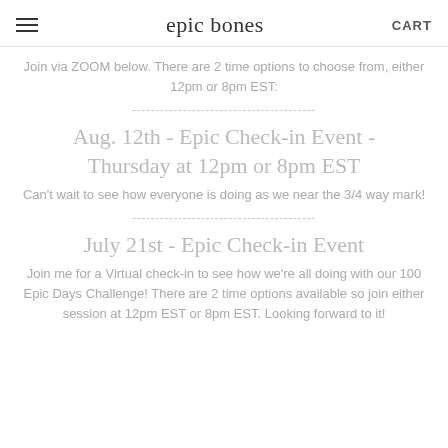epic bones | CART
Join via ZOOM below. There are 2 time options to choose from, either 12pm or 8pm EST:
Aug. 12th - Epic Check-in Event - Thursday at 12pm or 8pm EST
Can't wait to see how everyone is doing as we near the 3/4 way mark!
July 21st - Epic Check-in Event
Join me for a Virtual check-in to see how we're all doing with our 100 Epic Days Challenge! There are 2 time options available so join either session at 12pm EST or 8pm EST. Looking forward to it!